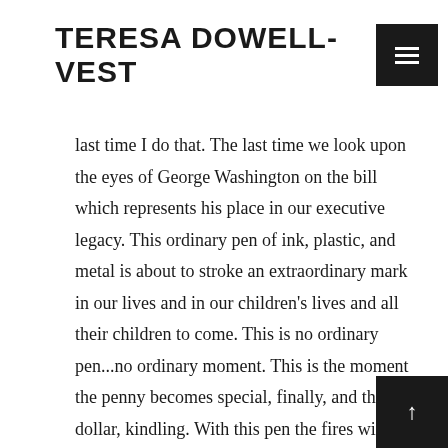TERESA DOWELL-VEST
last time I do that.  The last time we look upon the eyes of George Washington on the bill which represents his place in our executive legacy.  This ordinary pen of ink, plastic, and metal is about to stroke an extraordinary mark in our lives and in our children's lives and all their children to come.  This is no ordinary pen...no ordinary moment.  This is the moment the penny becomes special, finally, and the dollar, kindling.  With this pen the fires will burn hot with our entire mint, with the stroke of this pen, rendered useless...of no value.  This is the moment we kill currency.  We watch the faces of former presidents and great statesmen curl